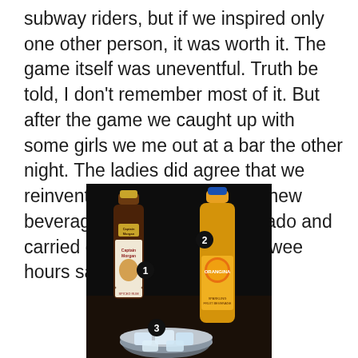subway riders, but if we inspired only one other person, it was worth it. The game itself was uneventful. Truth be told, I don't remember most of it. But after the game we caught up with some girls we me out at a bar the other night. The ladies did agree that we reinvented the wheel with our new beverage. We got muy intoxicado and carried on like pirates into the wee hours sans clothing.
[Figure (photo): Photo on dark background showing three numbered items: 1) a small Captain Morgan spiced rum bottle, 2) a large Orangina bottle, 3) a bowl/glass with ice cubes]